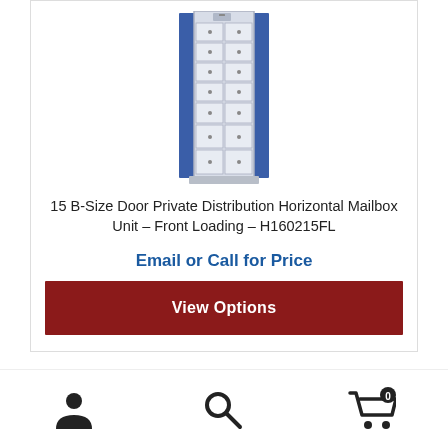[Figure (photo): Tall blue and white horizontal mailbox unit with multiple compartment doors, front-loading style]
15 B-Size Door Private Distribution Horizontal Mailbox Unit – Front Loading – H160215FL
Email or Call for Price
View Options
[Figure (photo): Partial view of another mailbox unit at the bottom of the page]